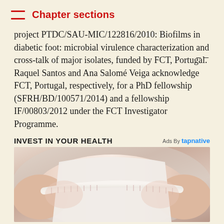Chapter sections
project PTDC/SAU-MIC/122816/2010: Biofilms in diabetic foot: microbial virulence characterization and cross-talk of major isolates, funded by FCT, Portugal. Raquel Santos and Ana Salomé Veiga acknowledge FCT, Portugal, respectively, for a PhD fellowship (SFRH/BD/100571/2014) and a fellowship IF/00803/2012 under the FCT Investigator Programme.
INVEST IN YOUR HEALTH
[Figure (photo): Photo of a person's torso with a white measuring tape wrapped around it, shown from behind/side, light background]